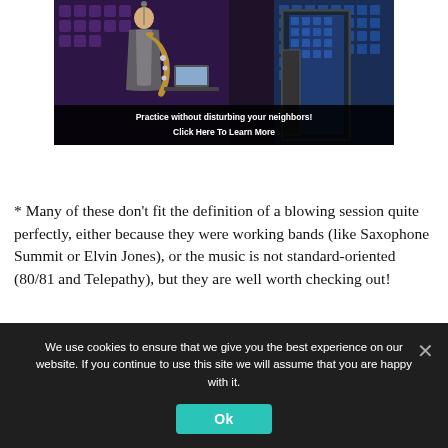[Figure (photo): Advertisement showing a saxophone player in a recording studio with acoustic foam panels and a soundproof booth. Text overlay reads 'Practice without disturbing your neighbors! Click Here To Learn More']
* Many of these don't fit the definition of a blowing session quite perfectly, either because they were working bands (like Saxophone Summit or Elvin Jones), or the music is not standard-oriented (80/81 and Telepathy), but they are well worth checking out!
We use cookies to ensure that we give you the best experience on our website. If you continue to use this site we will assume that you are happy with it.